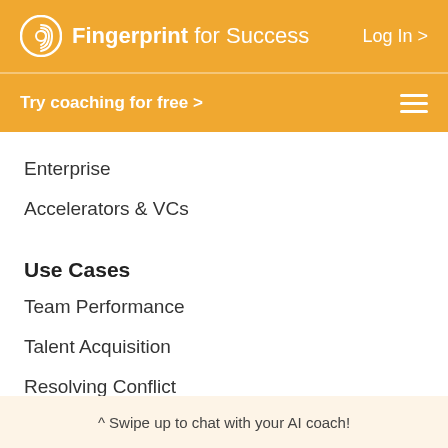Fingerprint for Success   Log In >
Try coaching for free >
Enterprise
Accelerators & VCs
Use Cases
Team Performance
Talent Acquisition
Resolving Conflict
^ Swipe up to chat with your AI coach!